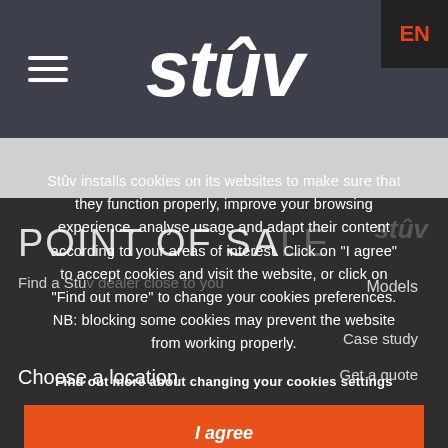[Figure (screenshot): Stûv website header with hamburger menu, logo, and EN language badge on dark gray background]
Stûv installs cookies on its websites to make sure that they function properly, improve your browsing experience, analyse usage and adapt their content according to your areas of interest. Click on "I agree" to accept cookies and visit the website, or click on "Find out more" to change your cookies preferences. NB: blocking some cookies may prevent the website from working properly.
Find out more about changing your cookies settings
I agree
POINT OF SALE
Find a Stûv dealer close to you
Models
Case study
Choose a location
Get a quote
United Kingdom